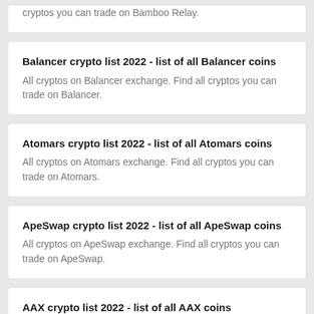cryptos you can trade on Bamboo Relay.
Balancer crypto list 2022 - list of all Balancer coins
All cryptos on Balancer exchange. Find all cryptos you can trade on Balancer.
Atomars crypto list 2022 - list of all Atomars coins
All cryptos on Atomars exchange. Find all cryptos you can trade on Atomars.
ApeSwap crypto list 2022 - list of all ApeSwap coins
All cryptos on ApeSwap exchange. Find all cryptos you can trade on ApeSwap.
AAX crypto list 2022 - list of all AAX coins